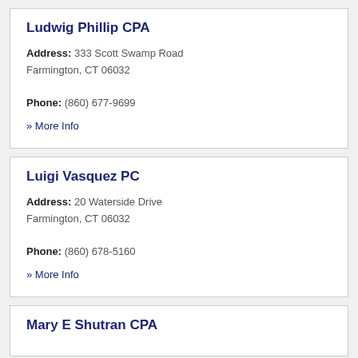Ludwig Phillip CPA
Address: 333 Scott Swamp Road Farmington, CT 06032
Phone: (860) 677-9699
» More Info
Luigi Vasquez PC
Address: 20 Waterside Drive Farmington, CT 06032
Phone: (860) 678-5160
» More Info
Mary E Shutran CPA